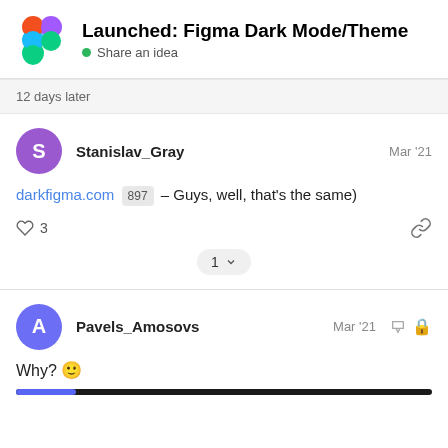Launched: Figma Dark Mode/Theme — Share an idea
12 days later
Stanislav_Gray  Mar '21
darkfigma.com 897 - Guys, well, that's the same)
♡ 3  🔗  1 ▾
Pavels_Amosovs  Mar '21
Why? 🙂